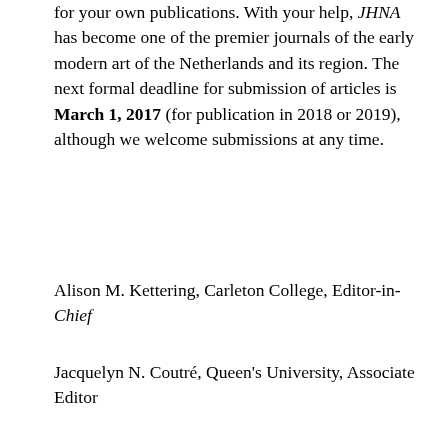for your own publications. With your help, JHNA has become one of the premier journals of the early modern art of the Netherlands and its region. The next formal deadline for submission of articles is March 1, 2017 (for publication in 2018 or 2019), although we welcome submissions at any time.
Alison M. Kettering, Carleton College, Editor-in-Chief
Jacquelyn N. Coutré, Queen's University, Associate Editor